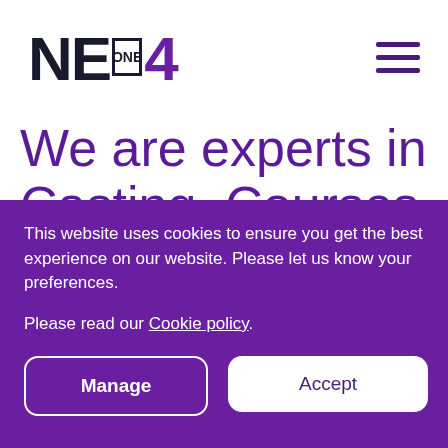[Figure (logo): NE ONE 4 logo — NE in black bold, ONE in a bordered box, 4 in purple]
[Figure (other): Hamburger menu icon — three horizontal purple lines]
We are experts in Casting, Courses
This website uses cookies to ensure you get the best experience on our website. Please let us know your preferences.
Please read our Cookie policy.
Manage
Accept